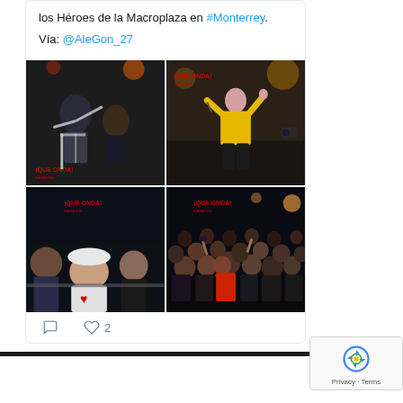los Héroes de la Macroplaza en #Monterrey.
Vía: @AleGon_27
[Figure (photo): 2x2 grid of concert photos with 'QUE ONDA MAGAZINE' watermark. Top-left: performers on stage at night. Top-right: woman in yellow top performing. Bottom-left: crowd at concert. Bottom-right: large crowd at night event.]
♡ 2
[Figure (logo): reCAPTCHA badge with Privacy - Terms text]